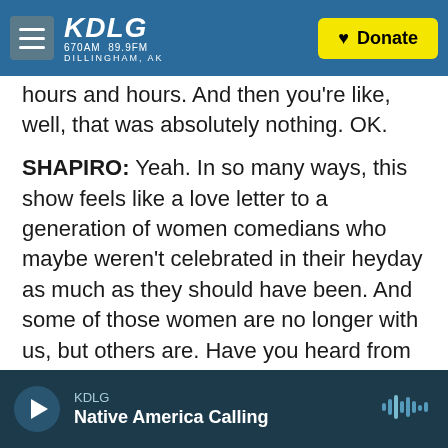KDLG 670AM 89.9FM DILLINGHAM, AK | Donate
hours and hours. And then you're like, well, that was absolutely nothing. OK.
SHAPIRO: Yeah. In so many ways, this show feels like a love letter to a generation of women comedians who maybe weren't celebrated in their heyday as much as they should have been. And some of those women are no longer with us, but others are. Have you heard from them? Have they talked to you about this show?
STATSKY: Yeah. One of the greatest things about the show is that we have heard from these female
KDLG | Native America Calling